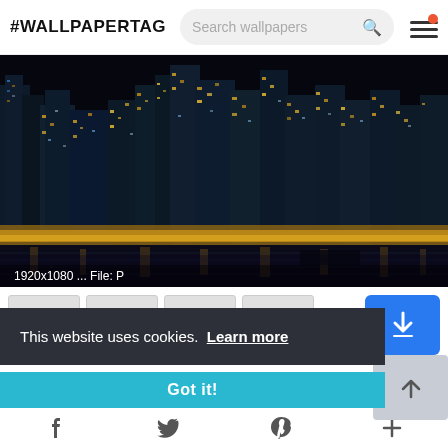#WALLPAPERTAG
[Figure (photo): Night cityscape photograph showing a dense urban skyline reflected in water, with bright building lights and street lights. Caption reads: 1920x1080 ... File: P]
1920x1080 ... File: P
This website uses cookies. Learn more
Got it!